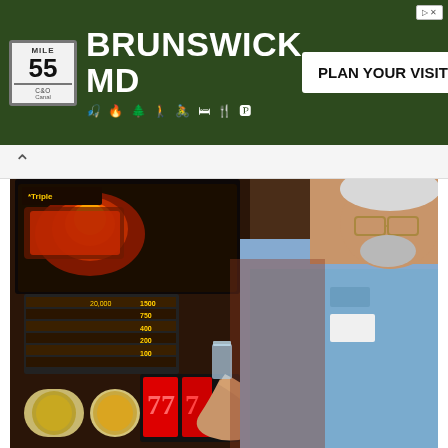[Figure (photo): Advertisement banner for Brunswick MD tourism with green background, mile marker sign showing Mile 55, C&O Canal, icons for outdoor activities, and 'PLAN YOUR VISIT' button]
[Figure (photo): Older man in light blue shirt with glasses standing next to a Triple Double slot machine in a casino]
Casinos Don't Expect You to Do This; but They Can't Stop You
BuzzDaily Winners
[Figure (photo): Partial photo at bottom of page, partially cropped]